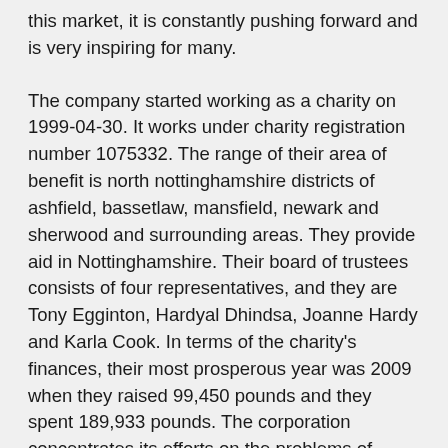this market, it is constantly pushing forward and is very inspiring for many.
The company started working as a charity on 1999-04-30. It works under charity registration number 1075332. The range of their area of benefit is north nottinghamshire districts of ashfield, bassetlaw, mansfield, newark and sherwood and surrounding areas. They provide aid in Nottinghamshire. Their board of trustees consists of four representatives, and they are Tony Egginton, Hardyal Dhindsa, Joanne Hardy and Karla Cook. In terms of the charity's finances, their most prosperous year was 2009 when they raised 99,450 pounds and they spent 189,933 pounds. The corporation concentrates its efforts on the problems of economic and community development and unemployment, the conservation of heritage sites and the protection of the environment and the problems of unemployment and economic and community development . It works to the benefit of the whole humanity, the whole mankind. It tries to help the above recipients by acting as a resource body